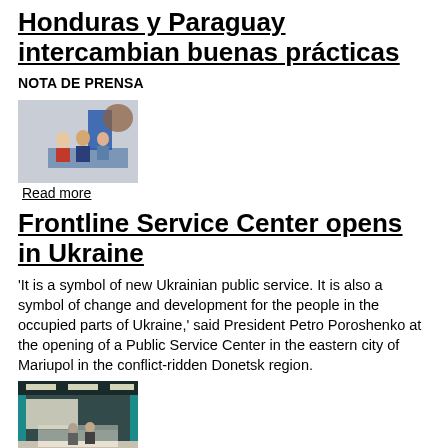Honduras y Paraguay intercambian buenas prácticas
NOTA DE PRENSA
[Figure (photo): Photo of officials at a table with a blue flag, possibly a government meeting in Honduras or Paraguay]
Read more
Frontline Service Center opens in Ukraine
'It is a symbol of new Ukrainian public service. It is also a symbol of change and development for the people in the occupied parts of Ukraine,' said President Petro Poroshenko at the opening of a Public Service Center in the eastern city of Mariupol in the conflict-ridden Donetsk region.
[Figure (photo): Interior photo of a Frontline Service Center building with a reception desk and people]